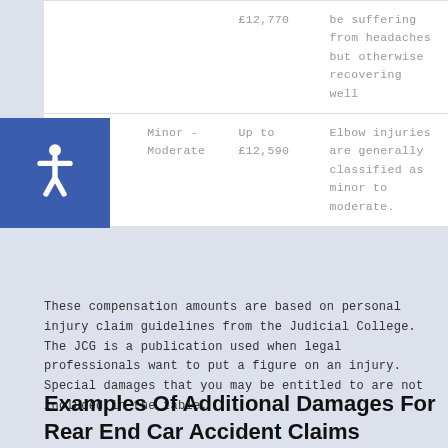| Injury Type | Severity | Compensation | Notes |
| --- | --- | --- | --- |
|  |  | £12,770 | be suffering from headaches but otherwise recovering well |
| Elbow Injury | Minor - Moderate | Up to £12,590 | Elbow injuries are generally classified as minor to moderate. |
These compensation amounts are based on personal injury claim guidelines from the Judicial College. The JCG is a publication used when legal professionals want to put a figure on an injury. Special damages that you may be entitled to are not included in the table.
Examples Of Additional Damages For Rear End Car Accident Claims